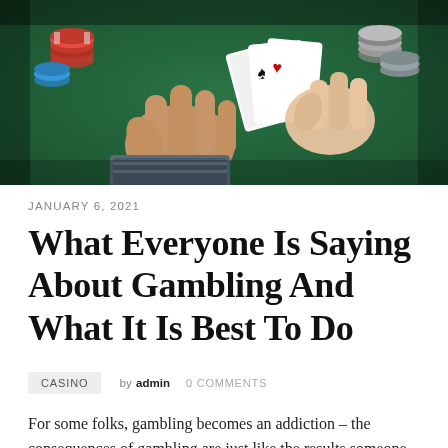[Figure (photo): Close-up photo of hands holding playing cards (including an Ace of Spades) over a green casino felt table with poker chips visible]
JANUARY 6, 2021
What Everyone Is Saying About Gambling And What It Is Best To Do
CASINO   by admin   0 COMMENTS
For some folks, gambling becomes an addiction – the consequences of gambling are just like the results someone